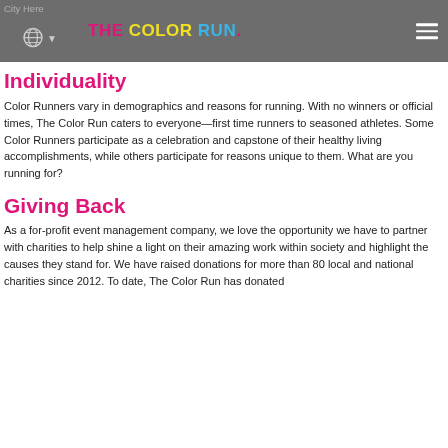City Here | THE COLOR RUN.
Individuality
Color Runners vary in demographics and reasons for running. With no winners or official times, The Color Run caters to everyone—first time runners to seasoned athletes. Some Color Runners participate as a celebration and capstone of their healthy living accomplishments, while others participate for reasons unique to them. What are you running for?
Giving Back
As a for-profit event management company, we love the opportunity we have to partner with charities to help shine a light on their amazing work within society and highlight the causes they stand for. We have raised donations for more than 80 local and national charities since 2012. To date, The Color Run has donated